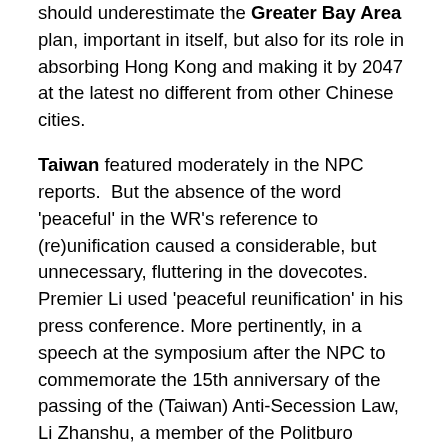should underestimate the Greater Bay Area plan, important in itself, but also for its role in absorbing Hong Kong and making it by 2047 at the latest no different from other Chinese cities.
Taiwan featured moderately in the NPC reports. But the absence of the word 'peaceful' in the WR's reference to (re)unification caused a considerable, but unnecessary, fluttering in the dovecotes. Premier Li used 'peaceful reunification' in his press conference. More pertinently, in a speech at the symposium after the NPC to commemorate the 15th anniversary of the passing of the (Taiwan) Anti-Secession Law, Li Zhanshu, a member of the Politburo Standing Committee, used the expression 18 times. Forceful reunification is no more likely than it was before, but certainly Xi Jinping wants the fear and threat of invasion to be reinforced. That is part of the strategy